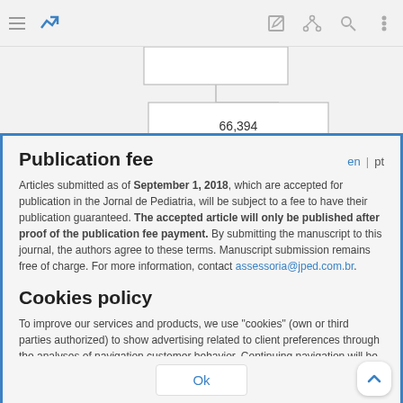[Figure (screenshot): Mobile app top navigation bar with hamburger menu, logo icon, edit icon, share icon, search icon, and more options icon]
[Figure (flowchart): Partial flowchart showing a box connected below to another box labeled 66,394]
Publication fee
Articles submitted as of September 1, 2018, which are accepted for publication in the Jornal de Pediatria, will be subject to a fee to have their publication guaranteed. The accepted article will only be published after proof of the publication fee payment. By submitting the manuscript to this journal, the authors agree to these terms. Manuscript submission remains free of charge. For more information, contact assessoria@jped.com.br.
Cookies policy
To improve our services and products, we use "cookies" (own or third parties authorized) to show advertising related to client preferences through the analyses of navigation customer behavior. Continuing navigation will be considered as acceptance of this use. You can change the settings or obtain more information by clicking here.